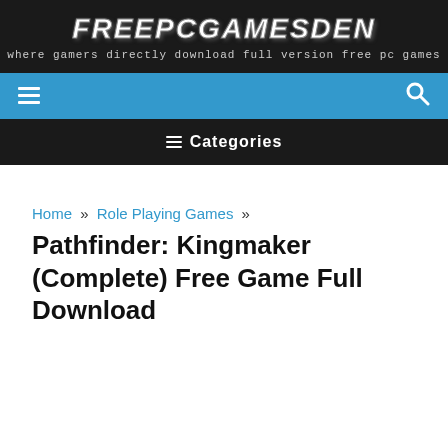FREEPCGAMESDEN
where gamers directly download full version free pc games
[Figure (screenshot): Blue navigation bar with hamburger menu icon on the left and search icon on the right]
☰ Categories
Home » Role Playing Games » Pathfinder: Kingmaker (Complete) Free Game Full Download